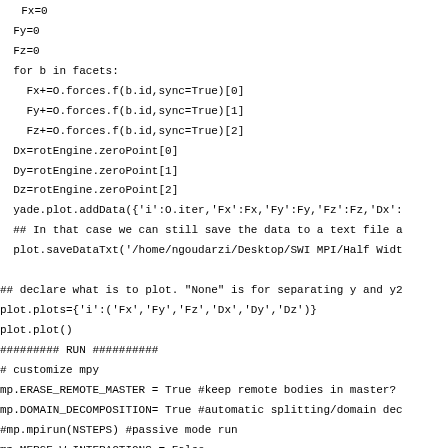Fx=0
Fy=0
Fz=0
for b in facets:
    Fx+=O.forces.f(b.id,sync=True)[0]
    Fy+=O.forces.f(b.id,sync=True)[1]
    Fz+=O.forces.f(b.id,sync=True)[2]
Dx=rotEngine.zeroPoint[0]
Dy=rotEngine.zeroPoint[1]
Dz=rotEngine.zeroPoint[2]
yade.plot.addData({'i':O.iter,'Fx':Fx,'Fy':Fy,'Fz':Fz,'Dx':
## In that case we can still save the data to a text file a
plot.saveDataTxt('/home/ngoudarzi/Desktop/SWI MPI/Half Widt

## declare what is to plot. "None" is for separating y and y2
plot.plots={'i':('Fx','Fy','Fz','Dx','Dy','Dz')}
plot.plot()
######### RUN ##########
# customize mpy
mp.ERASE_REMOTE_MASTER = True #keep remote bodies in master?
mp.DOMAIN_DECOMPOSITION= True #automatic splitting/domain dec
#mp.mpirun(NSTEPS) #passive mode run
mp.MERGE_W_INTERACTIONS = False
mp.mpirun(NSTEPS,numThreads,withMerge=True) # interactive run
mp.mergeScene() #merge scene after run.
if mp.rank == 0: O.save('/home/ngoudarzi/Desktop/SWI MPI/Half